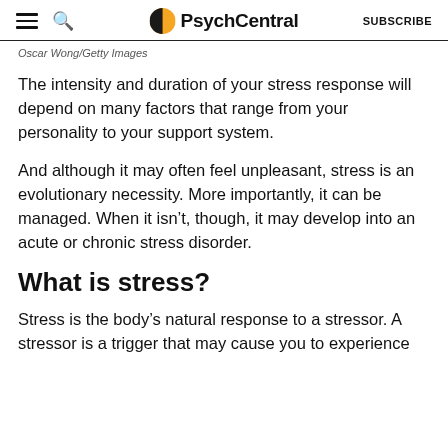PsychCentral
Oscar Wong/Getty Images
The intensity and duration of your stress response will depend on many factors that range from your personality to your support system.
And although it may often feel unpleasant, stress is an evolutionary necessity. More importantly, it can be managed. When it isn’t, though, it may develop into an acute or chronic stress disorder.
What is stress?
Stress is the body’s natural response to a stressor. A stressor is a trigger that may cause you to experience